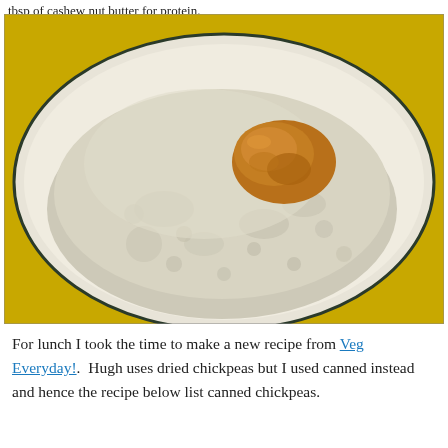tbsp of cashew nut butter for protein.
[Figure (photo): A white plate with a mound of cooked oatmeal/porridge topped with a dollop of nut butter, on a yellow background.]
For lunch I took the time to make a new recipe from Veg Everyday!.  Hugh uses dried chickpeas but I used canned instead and hence the recipe below list canned chickpeas.